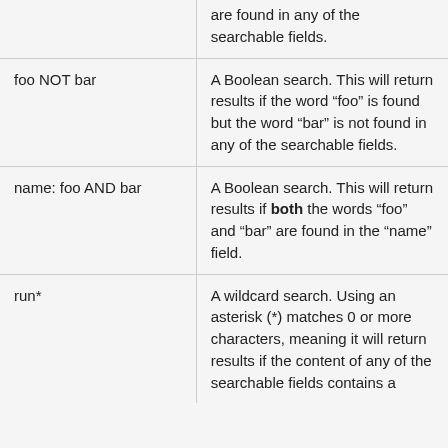| Search term | Description |
| --- | --- |
|  | are found in any of the searchable fields. |
| foo NOT bar | A Boolean search. This will return results if the word “foo” is found but the word “bar” is not found in any of the searchable fields. |
| name: foo AND bar | A Boolean search. This will return results if both the words “foo” and “bar” are found in the “name” field. |
| run* | A wildcard search. Using an asterisk (*) matches 0 or more characters, meaning it will return results if the content of any of the searchable fields contains a |